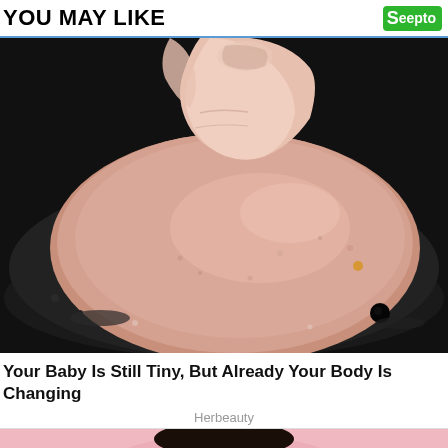YOU MAY LIKE
[Figure (photo): A hand pressing down on a raw meat patty cooking in a dark frying pan with oil/fat sizzling around it.]
Your Baby Is Still Tiny, But Already Your Body Is Changing
Herbeauty
[Figure (photo): Partial view of a person's face, pink/warm toned, cropped at bottom of page.]